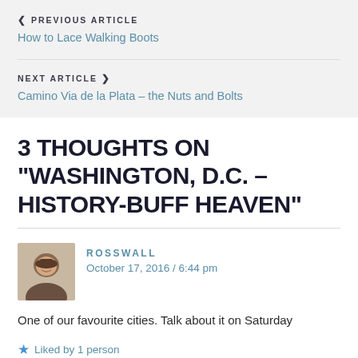< PREVIOUS ARTICLE
How to Lace Walking Boots
NEXT ARTICLE >
Camino Via de la Plata – the Nuts and Bolts
3 THOUGHTS ON "WASHINGTON, D.C. – HISTORY-BUFF HEAVEN"
ROSSWALL
October 17, 2016 / 6:44 pm
One of our favourite cities. Talk about it on Saturday
★ Liked by 1 person